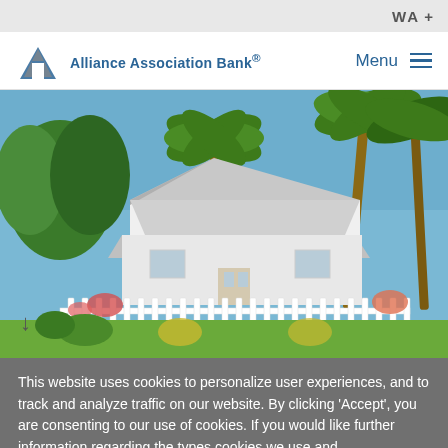WA +
[Figure (logo): Alliance Association Bank logo with blue arrow icon]
Alliance Association Bank®
Menu ≡
[Figure (photo): White two-story house with wrap-around porch, white picket fence, palm trees and tropical vegetation, blue sky background]
This website uses cookies to personalize user experiences, and to track and analyze traffic on our website. By clicking 'Accept', you are consenting to our use of cookies. If you would like further information regarding the types cookies we use and